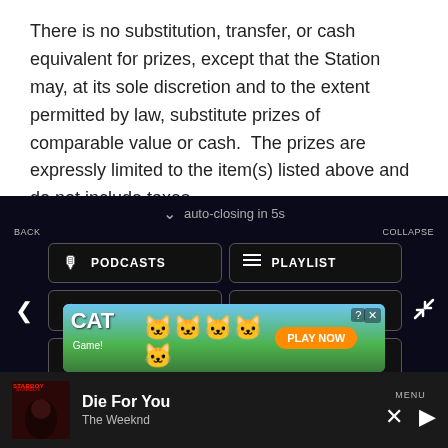There is no substitution, transfer, or cash equivalent for prizes, except that the Station may, at its sole discretion and to the extent permitted by law, substitute prizes of comparable value or cash.  The prizes are expressly limited to the item(s) listed above and do not include taxes
auto-closing in 5s
BACK
PODCASTS
PLAYLIST
TOP HITS
LISTEN LIVE
MY VOTES
CONTROLS
COLLAPSE
Data opt-out
[Figure (screenshot): Cat Game advertisement banner with colorful cat characters and PLAY NOW button]
Die For You
The Weeknd
MENU